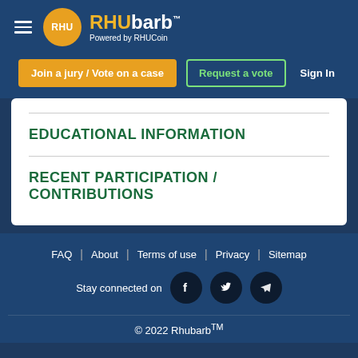RHU RHUbarb™ Powered by RHUCoin
Join a jury / Vote on a case | Request a vote | Sign In
EDUCATIONAL INFORMATION
RECENT PARTICIPATION / CONTRIBUTIONS
FAQ | About | Terms of use | Privacy | Sitemap
Stay connected on [Facebook] [Twitter] [Telegram]
© 2022 Rhubarb™